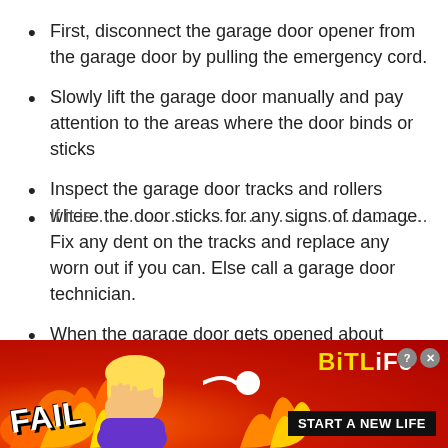First, disconnect the garage door opener from the garage door by pulling the emergency cord.
Slowly lift the garage door manually and pay attention to the areas where the door binds or sticks
Inspect the garage door tracks and rollers where the door sticks for any signs of damage. Fix any dent on the tracks and replace any worn out if you can. Else call a garage door technician.
When the garage door gets opened about halfway, let it go
[Figure (screenshot): Advertisement banner for BitLife mobile game with orange/red flame background, FAIL text, animated character, sperm mascot icon, and 'START A NEW LIFE' tagline]